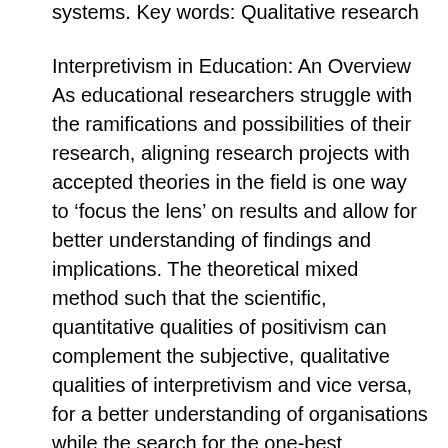systems. Key words: Qualitative research
Interpretivism in Education: An Overview As educational researchers struggle with the ramifications and possibilities of their research, aligning research projects with accepted theories in the field is one way to ‘focus the lens’ on results and allow for better understanding of findings and implications. The theoretical mixed method such that the scientific, quantitative qualities of positivism can complement the subjective, qualitative qualities of interpretivism and vice versa, for a better understanding of organisations while the search for the one-best approach continues. KEYWORDS: Positivism, Managerialism, Interpretivism, Critics, Mixed Method. INTRODUCTION